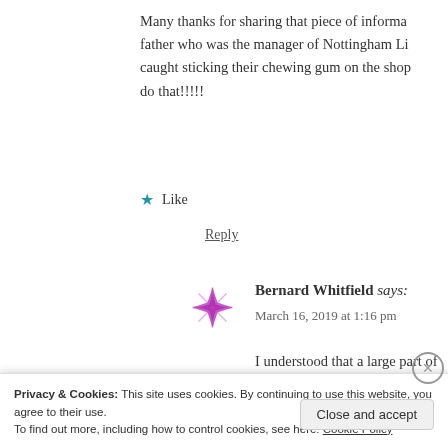Many thanks for sharing that piece of informa... father who was the manager of Nottingham Li... caught sticking their chewing gum on the shop... do that!!!!!
★ Like
Reply
Bernard Whitfield says:
March 16, 2019 at 1:16 pm
I understood that a large part of the pr... the Pension Fund
Privacy & Cookies: This site uses cookies. By continuing to use this website, you agree to their use.
To find out more, including how to control cookies, see here: Cookie Policy
Close and accept